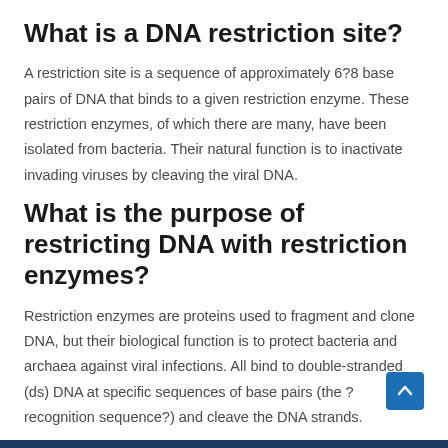What is a DNA restriction site?
A restriction site is a sequence of approximately 6?8 base pairs of DNA that binds to a given restriction enzyme. These restriction enzymes, of which there are many, have been isolated from bacteria. Their natural function is to inactivate invading viruses by cleaving the viral DNA.
What is the purpose of restricting DNA with restriction enzymes?
Restriction enzymes are proteins used to fragment and clone DNA, but their biological function is to protect bacteria and archaea against viral infections. All bind to double-stranded (ds) DNA at specific sequences of base pairs (the ?recognition sequence?) and cleave the DNA strands.